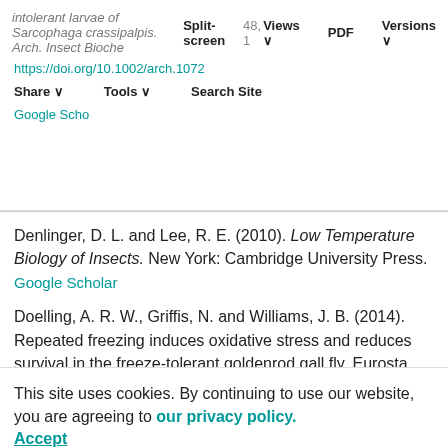intolerant larvae of Sarcophaga crassipalpis. Arch. Insect Biochem. 48, 1... | Split-screen | Views | PDF | Versions | https://doi.org/10.1002/arch.1072 | Share | Tools | Search Site | Google Scholar
Denlinger, D. L. and Lee, R. E. (2010). Low Temperature Biology of Insects. New York: Cambridge University Press.
Google Scholar
Doelling, A. R. W., Griffis, N. and Williams, J. B. (2014). Repeated freezing induces oxidative stress and reduces survival in the freeze-tolerant goldenrod gall fly, Eurosta solidaginis. J. Insect Physiol. 67, 20-27. https://doi.org/10.1016/j.jinsphys.2014.05.024
Google Scholar
This site uses cookies. By continuing to use our website, you are agreeing to our privacy policy. Accept